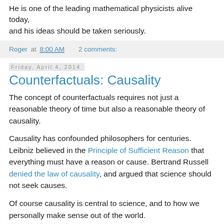He is one of the leading mathematical physicists alive today, and his ideas should be taken seriously.
Roger at 8:00 AM    2 comments:
Friday, April 4, 2014
Counterfactuals: Causality
The concept of counterfactuals requires not just a reasonable theory of time but also a reasonable theory of causality.
Causality has confounded philosophers for centuries. Leibniz believed in the Principle of Sufficient Reason that everything must have a reason or cause. Bertrand Russell denied the law of causality, and argued that science should not seek causes.
Of course causality is central to science, and to how we personally make sense out of the world.